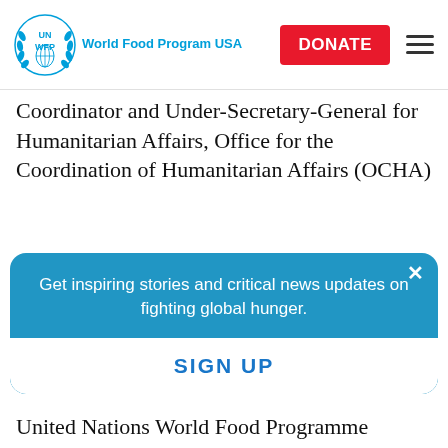[Figure (logo): UN WFP World Food Program USA logo with blue text and emblem]
Coordinator and Under-Secretary-General for Humanitarian Affairs, Office for the Coordination of Humanitarian Affairs (OCHA)
Mr. Filippo Grandi, United Nations High Commissioner for Refugees, United Nations Refugee Agency (UNHCR)
Get inspiring stories and critical news updates on fighting global hunger.
SIGN UP
United Nations World Food Programme